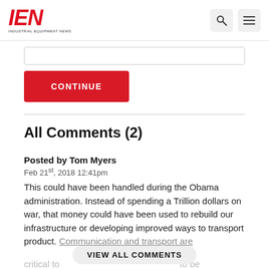IEN INDUSTRIAL EQUIPMENT NEWS
All Comments (2)
Posted by Tom Myers
Feb 21st, 2018 12:41pm
This could have been handled during the Obama administration. Instead of spending a Trillion dollars on war, that money could have been used to rebuild our infrastructure or developing improved ways to transport product. Communication and transport are critical to ... to be
VIEW ALL COMMENTS